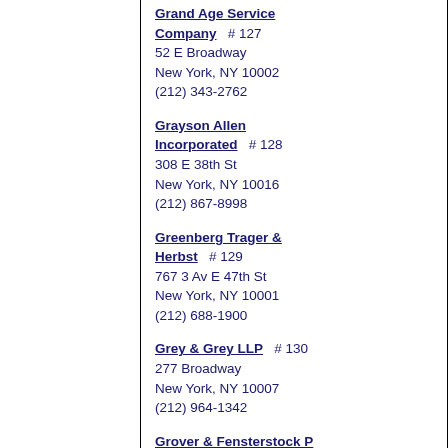Grand Age Service Company  # 127
52 E Broadway
New York, NY 10002
(212) 343-2762
Grayson Allen Incorporated  # 128
308 E 38th St
New York, NY 10016
(212) 867-8998
Greenberg Trager & Herbst  # 129
767 3 Av E 47th St
New York, NY 10001
(212) 688-1900
Grey & Grey LLP  # 130
277 Broadway
New York, NY 10007
(212) 964-1342
Grover & Fensterstock P C  # 131
575 Lexington Ave Ste 400
New York, NY 10022
(212) 904-9626
Grunewald Capital LLC